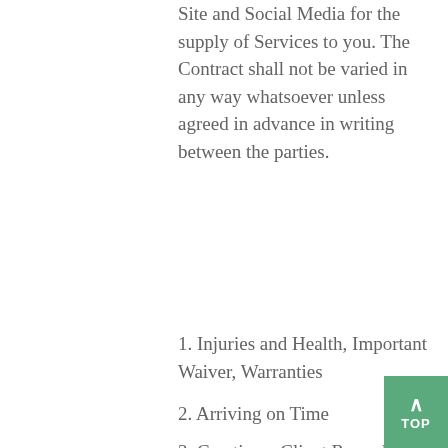Site and Social Media for the supply of Services to you. The Contract shall not be varied in any way whatsoever unless agreed in advance in writing between the parties.
1. Injuries and Health, Important Waiver, Warranties
2. Arriving on Time
3. Creating a Client Record, Booking and Payment
4. Changing or Cancelling Bookings/Missed Bookings/Refunds
5. Rights if we Cancel Classes, amend the Schedule or Change Instructors
6. Extension and Injuries
7. Prices and Expiry Periods
8. Personal Belongings